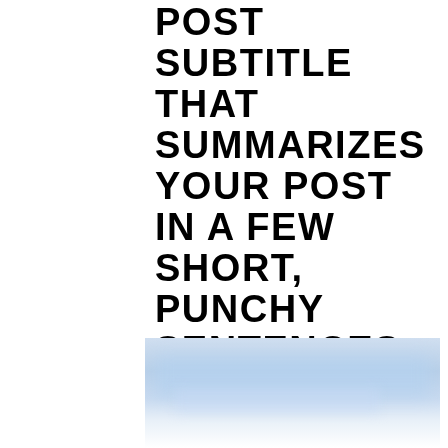POST SUBTITLE THAT SUMMARIZES YOUR POST IN A FEW SHORT, PUNCHY SENTENCES AND ENTICES YOUR AUDIENCE TO CONTINUE READING.
[Figure (photo): A blurred photo with blue and white tones, partially visible at the bottom of the page, appearing to be an outdoor or sky scene.]